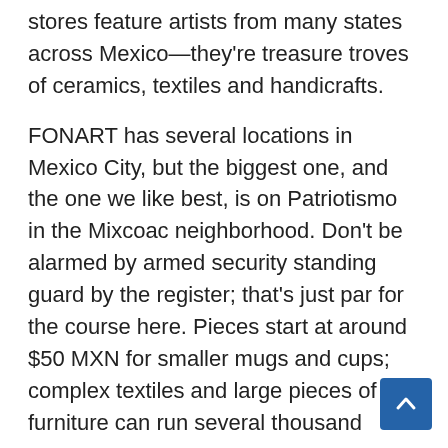stores feature artists from many states across Mexico—they're treasure troves of ceramics, textiles and handicrafts.
FONART has several locations in Mexico City, but the biggest one, and the one we like best, is on Patriotismo in the Mixcoac neighborhood. Don't be alarmed by armed security standing guard by the register; that's just par for the course here. Pieces start at around $50 MXN for smaller mugs and cups; complex textiles and large pieces of furniture can run several thousand pesos.
Kitchen/Dining It...